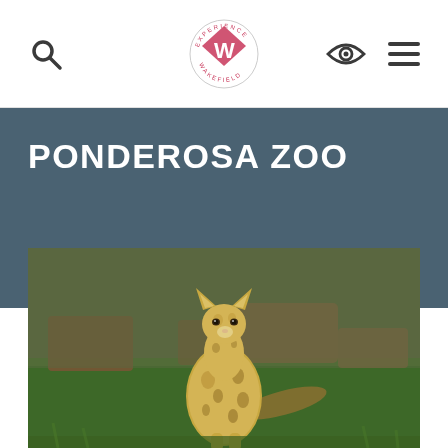Experience Wakefield — navigation header with search, logo, eye/accessibility, and menu icons
PONDEROSA ZOO
[Figure (photo): A serval cat standing on green grass with rocky background at Ponderosa Zoo]